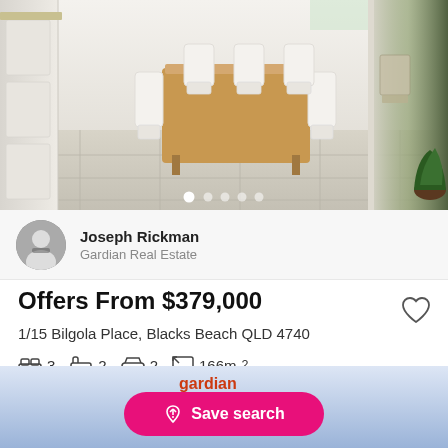[Figure (photo): Interior photo of a bright dining room with white chairs around a wooden table, light tile floors, white cabinetry on the left, and glass sliding door to outdoor area on the right. Carousel with 5 dots shown at bottom.]
Joseph Rickman
Gardian Real Estate
Offers From $379,000
1/15 Bilgola Place, Blacks Beach QLD 4740
3 bedrooms  2 bathrooms  2 cars  166m²
Semi-detached for Sale • 14 days on Homely
[Figure (logo): Gardian real estate logo]
Save search